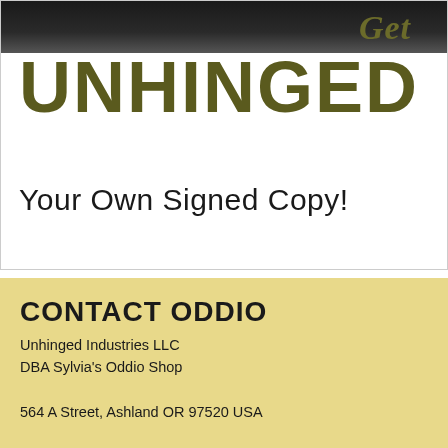[Figure (illustration): Book advertisement image showing 'Get UNHINGED Your Own Signed Copy!' with dark background at top suggesting a book or sign, olive/dark yellow-green text for UNHINGED, and black text for the subtitle]
CONTACT ODDIO
Unhinged Industries LLC
DBA Sylvia's Oddio Shop

564 A Street, Ashland OR 97520 USA

CHRIS JOHNSON - Manager